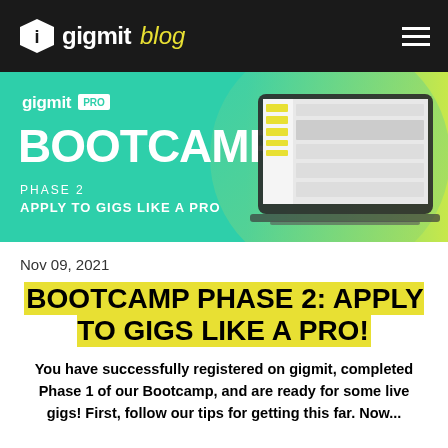gigmit blog
[Figure (illustration): gigmit PRO BOOTCAMP Phase 2 - Apply to Gigs Like a Pro banner with teal/green gradient background and a laptop showing the gigmit interface on the right side]
Nov 09, 2021
BOOTCAMP PHASE 2: APPLY TO GIGS LIKE A PRO!
You have successfully registered on gigmit, completed Phase 1 of our Bootcamp, and are ready for some live gigs! First, follow our tips for getting this far. Now...